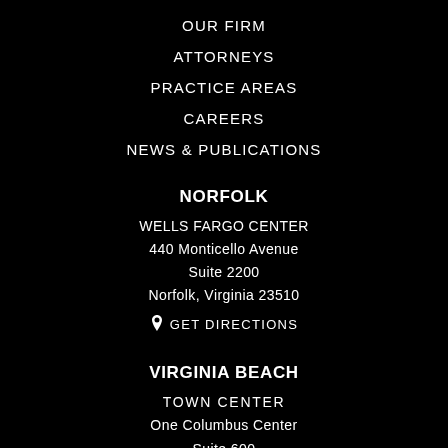OUR FIRM
ATTORNEYS
PRACTICE AREAS
CAREERS
NEWS & PUBLICATIONS
NORFOLK
WELLS FARGO CENTER
440 Monticello Avenue
Suite 2200
Norfolk, Virginia 23510
GET DIRECTIONS
VIRGINIA BEACH
TOWN CENTER
One Columbus Center
Suite 600